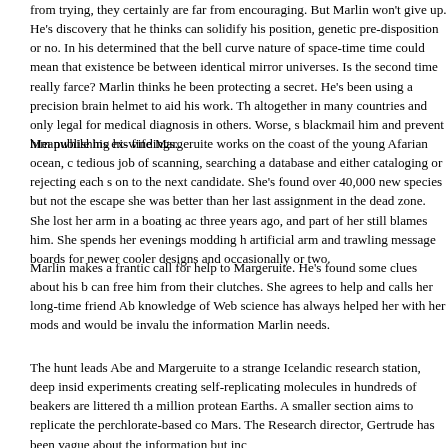from trying, they certainly are far from encouraging. But Marlin won't give up. He's discovery that he thinks can solidify his position, genetic pre-disposition or no. In his determined that the bell curve nature of space-time time could mean that existence be between identical mirror universes. Is the second time really farce? Marlin thinks he been protecting a secret. He's been using a precision brain helmet to aid his work. Th altogether in many countries and only legal for medical diagnosis in others. Worse, s blackmail him and prevent him publishing his findings.
Meanwhile his ex-wife Margeruite works on the coast of the young Afarian ocean, c tedious job of scanning, searching a database and either cataloging or rejecting each s on to the next candidate. She's found over 40,000 new species but not the escape she was better than her last assignment in the dead zone. She lost her arm in a boating ac three years ago, and part of her still blames him. She spends her evenings modding h artificial arm and trawling message boards for newer cooler designs and occasionally or two.
Marlin makes a frantic call for help to Margeruite. He's found some clues about his b can free him from their clutches. She agrees to help and calls her long-time friend Ab knowledge of Web science has always helped her with her mods and would be invalu the information Marlin needs.
The hunt leads Abe and Margeruite to a strange Icelandic research station, deep insid experiments creating self-replicating molecules in hundreds of beakers are littered th a million protean Earths. A smaller section aims to replicate the perchlorate-based co Mars. The Research director, Gertrude has been vague about the information but inc